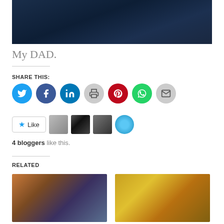[Figure (photo): Dark blue textured background photo, header image]
My DAD.
SHARE THIS:
[Figure (infographic): Row of social share icon buttons: Twitter (blue), Facebook (dark blue), LinkedIn (blue), Print (gray), Pinterest (red), WhatsApp (green), Email (gray)]
[Figure (infographic): Like button with star icon and 4 blogger avatar thumbnails]
4 bloggers like this.
RELATED
[Figure (photo): Related image 1: warm scene with figure near window]
[Figure (photo): Related image 2: yellow sports car in motion]